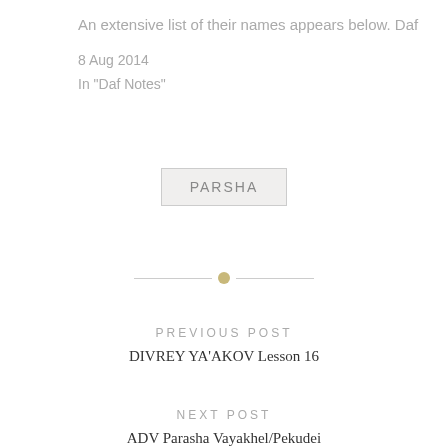An extensive list of their names appears below. Daf
8 Aug 2014
In "Daf Notes"
PARSHA
PREVIOUS POST
DIVREY YA'AKOV Lesson 16
NEXT POST
ADV Parasha Vayakhel/Pekudei